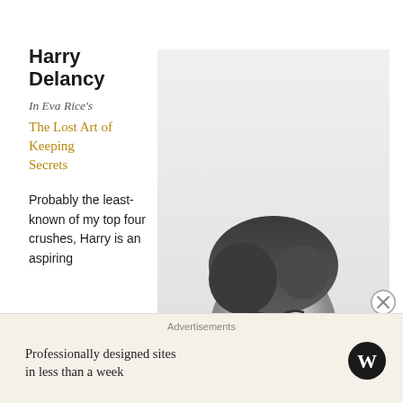Harry Delancy
In Eva Rice's
The Lost Art of Keeping Secrets
[Figure (photo): Black and white portrait photograph of a young man in a suit jacket, looking slightly to the side with a serious expression.]
Probably the least-known of my top four crushes, Harry is an aspiring
Advertisements
Professionally designed sites in less than a week